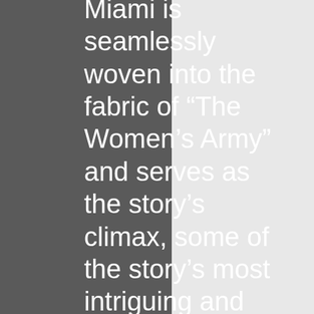Miami is seamlessly woven into the fabric of “The Women’s Army” and serves as the story’s climax, some of the story’s most intriguing and chilling scenes occur during…